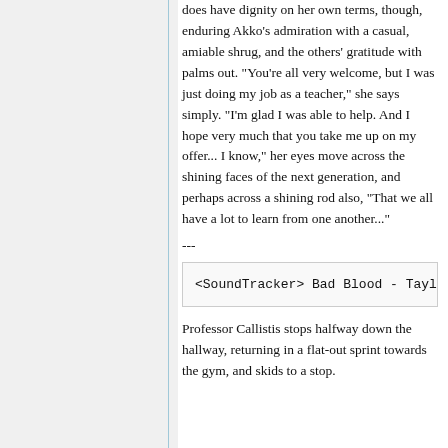does have dignity on her own terms, though, enduring Akko's admiration with a casual, amiable shrug, and the others' gratitude with palms out. "You're all very welcome, but I was just doing my job as a teacher," she says simply. "I'm glad I was able to help. And I hope very much that you take me up on my offer... I know," her eyes move across the shining faces of the next generation, and perhaps across a shining rod also, "That we all have a lot to learn from one another..."
---
<SoundTracker> Bad Blood - Tayl
Professor Callistis stops halfway down the hallway, returning in a flat-out sprint towards the gym, and skids to a stop.